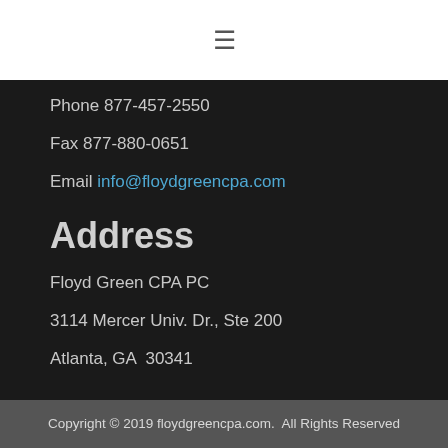[Figure (other): Hamburger menu icon (three horizontal lines)]
Phone 877-457-2550
Fax 877-880-0651
Email info@floydgreencpa.com
Address
Floyd Green CPA PC
3114 Mercer Univ. Dr., Ste 200
Atlanta, GA  30341
Copyright © 2019 floydgreencpa.com.  All Rights Reserved